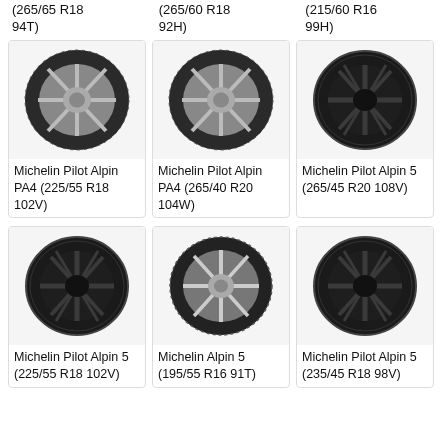(265/65 R18 94T)
(265/60 R18 92H)
(215/60 R16 99H)
[Figure (photo): Michelin Pilot Alpin PA4 tire on silver alloy wheel]
Michelin Pilot Alpin PA4 (225/55 R18 102V)
[Figure (photo): Michelin Pilot Alpin PA4 tire on silver alloy wheel]
Michelin Pilot Alpin PA4 (265/40 R20 104W)
[Figure (photo): Michelin Pilot Alpin 5 tire on dark alloy wheel]
Michelin Pilot Alpin 5 (265/45 R20 108V)
[Figure (photo): Michelin Pilot Alpin 5 tire on dark alloy wheel]
Michelin Pilot Alpin 5 (225/55 R18 102V)
[Figure (photo): Michelin Alpin 5 tire on silver alloy wheel]
Michelin Alpin 5 (195/55 R16 91T)
[Figure (photo): Michelin Pilot Alpin 5 tire on dark alloy wheel]
Michelin Pilot Alpin 5 (235/45 R18 98V)